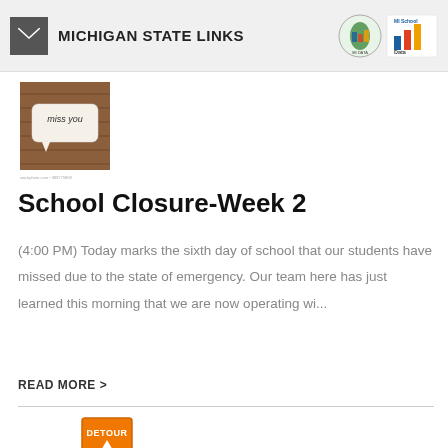MICHIGAN STATE LINKS
[Figure (photo): Photo of a wooden surface with a speech bubble cutout reading 'miss you']
School Closure-Week 2
(4:00 PM) Today marks the sixth day of school that our students have missed due to the state of emergency. Our team here has just learned this morning that we are now operating wi...
READ MORE >
[Figure (photo): Orange DETOUR road sign with an upward arrow]